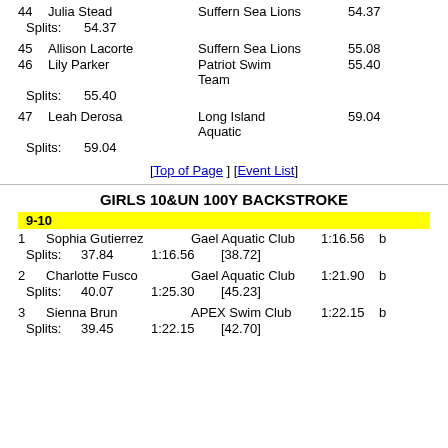44  Julia Stead   Suffern Sea Lions  54.37
Splits:  54.37
45  Allison Lacorte   Suffern Sea Lions  55.08
46  Lily Parker   Patriot Swim Team  55.40
Splits:  55.40
47  Leah Derosa   Long Island Aquatic  59.04
Splits:  59.04
[Top of Page] [Event List]
GIRLS 10&UN 100Y BACKSTROKE
9-10
1  Sophia Gutierrez   Gael Aquatic Club  1:16.56  b
Splits:  37.84  1:16.56  [38.72]
2  Charlotte Fusco   Gael Aquatic Club  1:21.90  b
Splits:  40.07  1:25.30  [45.23]
3  Sienna Brun   APEX Swim Club  1:22.15  b
Splits:  39.45  1:22.15  [42.70]